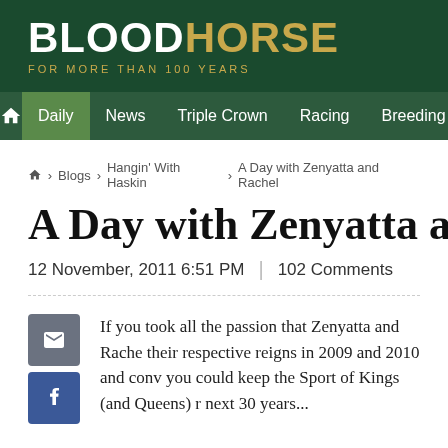BLOODHORSE FOR MORE THAN 100 YEARS
Home | Daily | News | Triple Crown | Racing | Breeding
Home › Blogs › Hangin' With Haskin › A Day with Zenyatta and Rachel
A Day with Zenyatta and Ra
12 November, 2011 6:51 PM | 102 Comments
If you took all the passion that Zenyatta and Rache their respective reigns in 2009 and 2010 and conv you could keep the Sport of Kings (and Queens) r next 30 years...